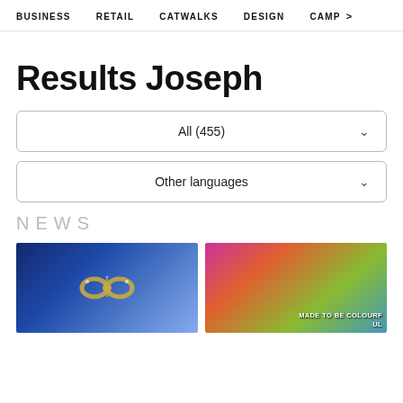BUSINESS   RETAIL   CATWALKS   DESIGN   CAMP >
Results Joseph
All (455)
Other languages
NEWS
[Figure (photo): Gold jewelry piece on a blue background]
[Figure (photo): Colorful retail/market scene with text 'MADE TO BE COLOURFUL']